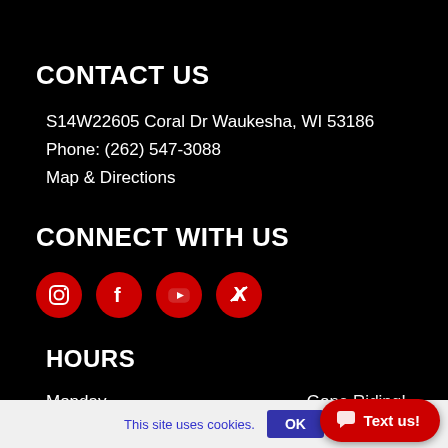CONTACT US
S14W22605 Coral Dr Waukesha, WI 53186
Phone: (262) 547-3088
Map & Directions
CONNECT WITH US
[Figure (other): Four red circular social media icons: Instagram, Facebook, YouTube, Twitter]
HOURS
Monday  Gone Riding!
This site uses cookies.
OK
Text us!